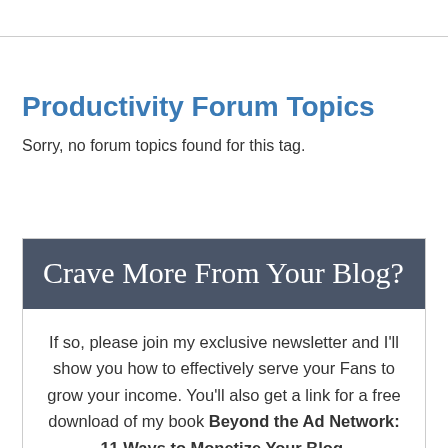Productivity Forum Topics
Sorry, no forum topics found for this tag.
Crave More From Your Blog?
If so, please join my exclusive newsletter and I'll show you how to effectively serve your Fans to grow your income. You'll also get a link for a free download of my book Beyond the Ad Network: 11 Ways to Monetize Your Blog.